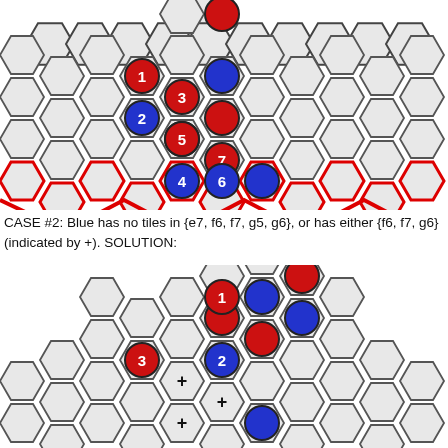[Figure (illustration): Top hexagonal grid board showing a Hex game position. Red and blue circular pieces numbered 1-7 are placed on various hexagonal cells. Columns labeled a through k. A thick red zigzag line runs along the bottom row indicating the board edge.]
CASE #2: Blue has no tiles in {e7, f6, f7, g5, g6}, or has either {f6, f7, g6} (indicated by +). SOLUTION:
[Figure (illustration): Bottom hexagonal grid board showing a solution position. Red and blue circular pieces numbered 1-3 are placed on hexagonal cells. Plus signs (+) are shown in certain cells indicating positions. Partially cut off at bottom.]